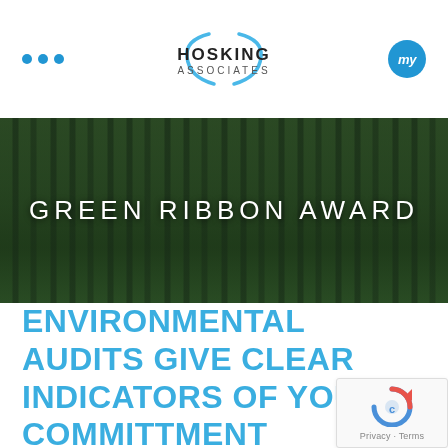[Figure (logo): Hosking Associates logo with swoosh graphic, three blue dots on left, 'my' button on right]
[Figure (photo): Dark forest of tall trees with green canopy, serving as banner background with 'GREEN RIBBON AWARD' text overlay]
ENVIRONMENTAL AUDITS GIVE CLEAR INDICATORS OF YOUR COMMITTMENT
[Figure (other): reCAPTCHA widget with Privacy - Terms text]